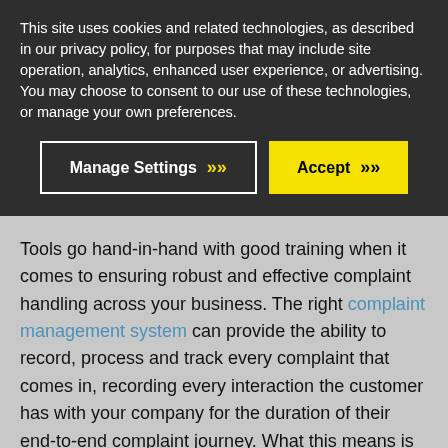This site uses cookies and related technologies, as described in our privacy policy, for purposes that may include site operation, analytics, enhanced user experience, or advertising. You may choose to consent to our use of these technologies, or manage your own preferences.
[Figure (screenshot): Cookie consent banner with two buttons: 'Manage Settings' (dark background with white border, yellow chevrons) and 'Accept' (yellow background, black chevrons)]
Tools go hand-in-hand with good training when it comes to ensuring robust and effective complaint handling across your business. The right complaint management system can provide the ability to record, process and track every complaint that comes in, recording every interaction the customer has with your company for the duration of their end-to-end complaint journey. What this means is your complaint handlers are dealing with a single version of the truth at all times, well-equipped with the knowledge of all complaint-related past interactions or communications that a particular customer has had with your business. Go one step further, and integration with your CRM system, for example, will furnish the complaint handler with even more helpful detail about the